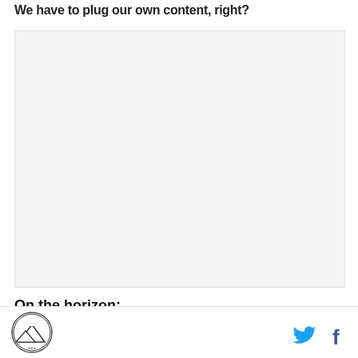We have to plug our own content, right?
[Figure (other): Large light gray placeholder image box]
On the horizon:
Footer with circular logo on left and Twitter/Facebook icons on right